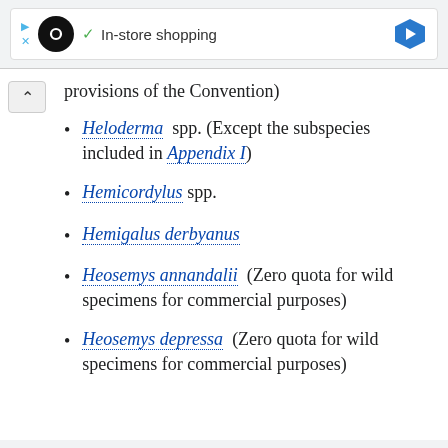[Figure (screenshot): Ad banner showing in-store shopping with infinity loop icon, checkmark, and blue navigation diamond icon]
provisions of the Convention)
Heloderma spp. (Except the subspecies included in Appendix I)
Hemicordylus spp.
Hemigalus derbyanus
Heosemys annandalii  (Zero quota for wild specimens for commercial purposes)
Heosemys depressa  (Zero quota for wild specimens for commercial purposes)